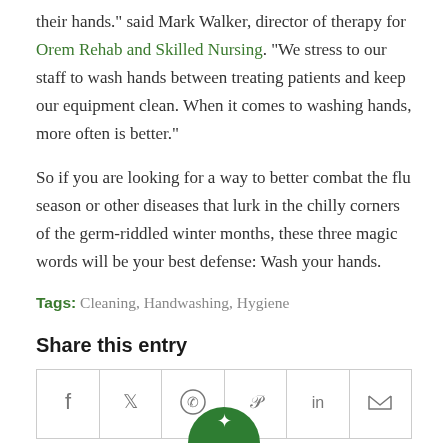their hands." said Mark Walker, director of therapy for Orem Rehab and Skilled Nursing. "We stress to our staff to wash hands between treating patients and keep our equipment clean. When it comes to washing hands, more often is better."
So if you are looking for a way to better combat the flu season or other diseases that lurk in the chilly corners of the germ-riddled winter months, these three magic words will be your best defense: Wash your hands.
Tags: Cleaning, Handwashing, Hygiene
Share this entry
[Figure (other): Social sharing icons row: Facebook, Twitter, WhatsApp, Pinterest, LinkedIn, Email in bordered cells]
[Figure (other): Green circle icon at bottom center of page]